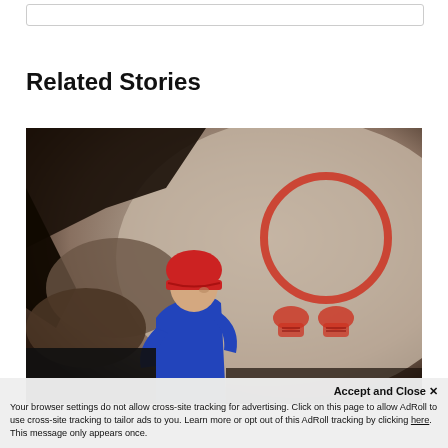Related Stories
[Figure (photo): A person wearing a red helmet and blue t-shirt sits inside a cave looking at ancient red pictographs/cave art painted on the rock wall. The cave art includes a large circular shape and what appear to be boot or footprint symbols painted in red ochre.]
Accept and Close ×
Your browser settings do not allow cross-site tracking for advertising. Click on this page to allow AdRoll to use cross-site tracking to tailor ads to you. Learn more or opt out of this AdRoll tracking by clicking here. This message only appears once.